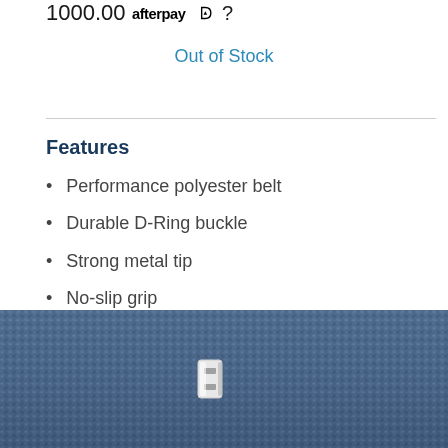1000.00 afterpay ?
Out of Stock
Features
Performance polyester belt
Durable D-Ring buckle
Strong metal tip
No-slip grip
Imported
[Figure (photo): Close-up photo of blue denim fabric texture with a white D-ring buckle or clasp visible in the center of the image.]